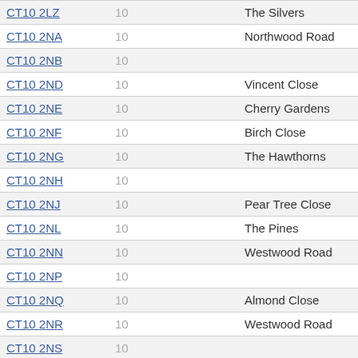| Postcode | Num | Date | Street | Count |
| --- | --- | --- | --- | --- |
| CT10 2LZ | 10 |  | The Silvers | 17 |
| CT10 2NA | 10 |  | Northwood Road | 1 |
| CT10 2NB | 10 |  |  | 0 |
| CT10 2ND | 10 |  | Vincent Close | 1 |
| CT10 2NE | 10 |  | Cherry Gardens | 48 |
| CT10 2NF | 10 |  | Birch Close | 17 |
| CT10 2NG | 10 |  | The Hawthorns | 41 |
| CT10 2NH | 10 |  |  | 0 |
| CT10 2NJ | 10 |  | Pear Tree Close | 12 |
| CT10 2NL | 10 |  | The Pines | 21 |
| CT10 2NN | 10 |  | Westwood Road | 1 |
| CT10 2NP | 10 |  |  | 0 |
| CT10 2NQ | 10 |  | Almond Close | 21 |
| CT10 2NR | 10 |  | Westwood Road | 1 |
| CT10 2NS | 10 |  |  | 0 |
| CT10 2NT | 10 |  | Westwood Road | 2 |
| CT10 2NU (struck) | 10 |  | Westwood Road | 1 |
| CT10 2NW | 10 | 2013-07 |  | 0 |